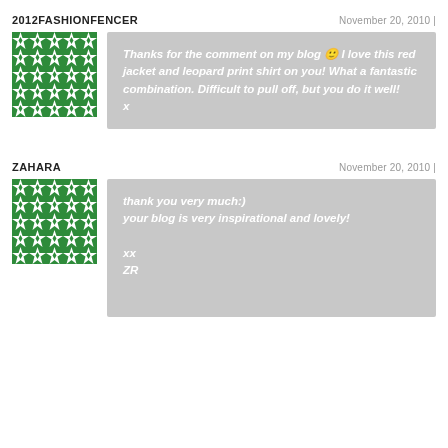2012FASHIONFENCER
November 20, 2010 |
[Figure (illustration): Green and white geometric avatar pattern]
Thanks for the comment on my blog 🙂 I love this red jacket and leopard print shirt on you! What a fantastic combination. Difficult to pull off, but you do it well!
x
ZAHARA
November 20, 2010 |
[Figure (illustration): Green and white geometric avatar pattern]
thank you very much:)
your blog is very inspirational and lovely!

xx
ZR